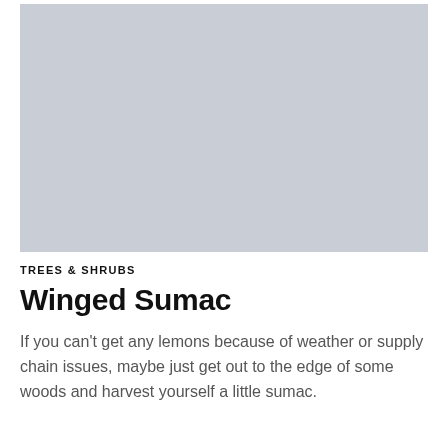[Figure (photo): A large light blue-grey placeholder image area occupying the top portion of the page.]
TREES & SHRUBS
Winged Sumac
If you can't get any lemons because of weather or supply chain issues, maybe just get out to the edge of some woods and harvest yourself a little sumac.